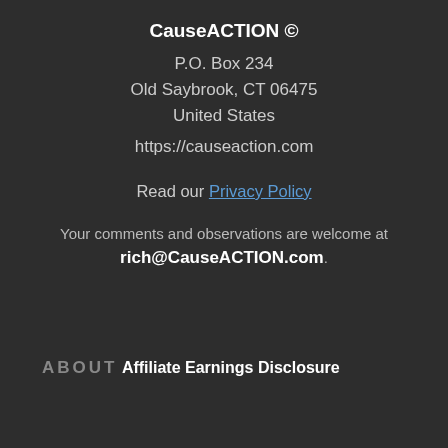CauseACTION ©
P.O. Box 234
Old Saybrook, CT 06475
United States
https://causeaction.com
Read our Privacy Policy
Your comments and observations are welcome at rich@CauseACTION.com.
ABOUT
Affiliate Earnings Disclosure